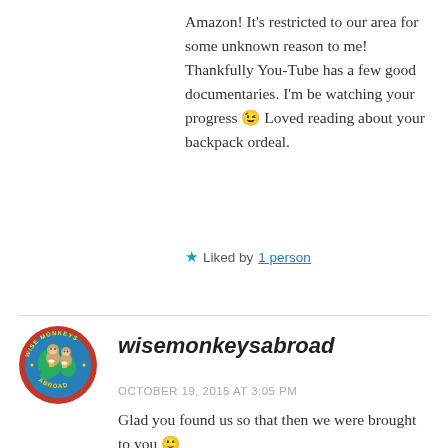Amazon! It's restricted to our area for some unknown reason to me! Thankfully You-Tube has a few good documentaries. I'm be watching your progress 😉 Loved reading about your backpack ordeal.
★ Liked by 1 person
[Figure (logo): Wise Monkeys Abroad circular logo with cartoon monkeys]
wisemonkeysabroad
OCTOBER 19, 2015 AT 3:05 PM
Glad you found us so that then we were brought to you 🙂